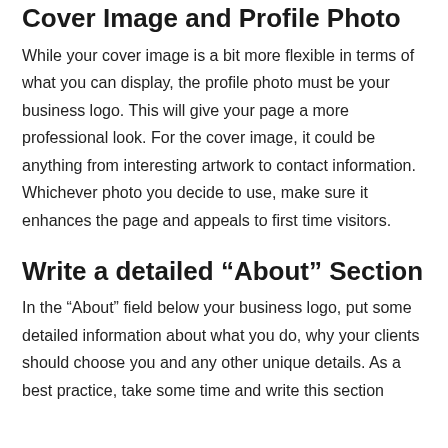Cover Image and Profile Photo
While your cover image is a bit more flexible in terms of what you can display, the profile photo must be your business logo. This will give your page a more professional look. For the cover image, it could be anything from interesting artwork to contact information. Whichever photo you decide to use, make sure it enhances the page and appeals to first time visitors.
Write a detailed “About” Section
In the “About” field below your business logo, put some detailed information about what you do, why your clients should choose you and any other unique details. As a best practice, take some time and write this section